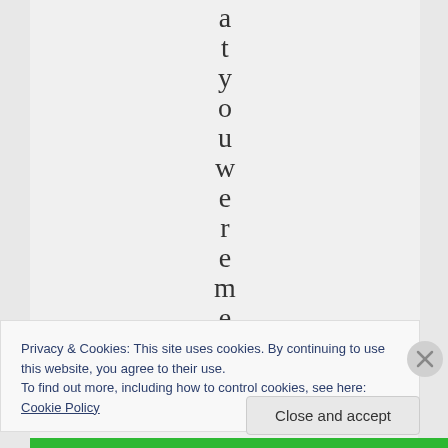[Figure (screenshot): Vertical text spelling 'a t y o u w e r e m e' displayed one letter per line on a light gray background, centered horizontally]
Privacy & Cookies: This site uses cookies. By continuing to use this website, you agree to their use.
To find out more, including how to control cookies, see here: Cookie Policy
Close and accept